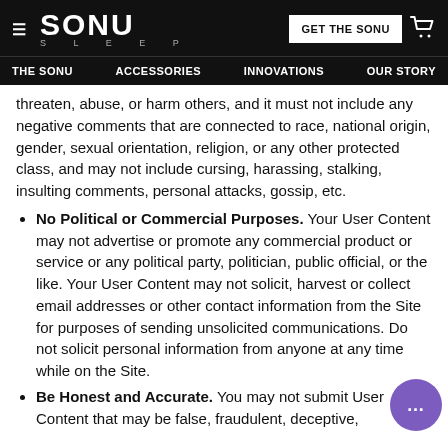SONU SLEEP — THE SONU | ACCESSORIES | INNOVATIONS | OUR STORY | GET THE SONU
threaten, abuse, or harm others, and it must not include any negative comments that are connected to race, national origin, gender, sexual orientation, religion, or any other protected class, and may not include cursing, harassing, stalking, insulting comments, personal attacks, gossip, etc.
No Political or Commercial Purposes. Your User Content may not advertise or promote any commercial product or service or any political party, politician, public official, or the like. Your User Content may not solicit, harvest or collect email addresses or other contact information from the Site for purposes of sending unsolicited communications. Do not solicit personal information from anyone at any time while on the Site.
Be Honest and Accurate. You may not submit User Content that may be false, fraudulent, deceptive,